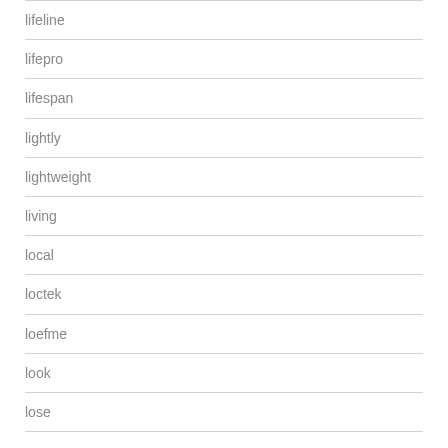lifeline
lifepro
lifespan
lightly
lightweight
living
local
loctek
loefme
look
lose